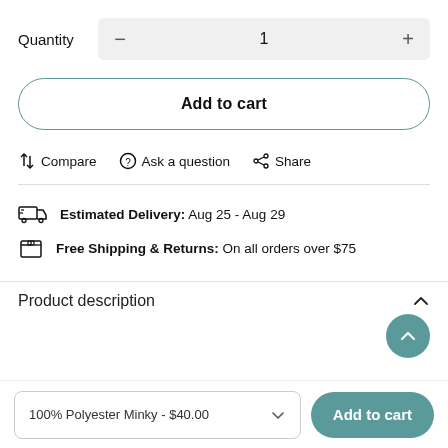Quantity  −  1  +
Add to cart
Compare  Ask a question  Share
Estimated Delivery: Aug 25 - Aug 29
Free Shipping & Returns: On all orders over $75
Product description
100% Polyester Minky - $40.00
Add to cart